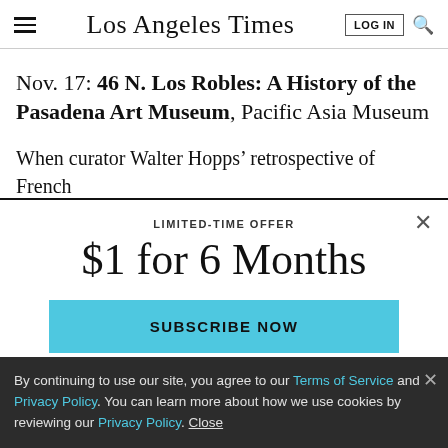Los Angeles Times
Nov. 17: 46 N. Los Robles: A History of the Pasadena Art Museum, Pacific Asia Museum
When curator Walter Hopps’ retrospective of French
LIMITED-TIME OFFER
$1 for 6 Months
SUBSCRIBE NOW
By continuing to use our site, you agree to our Terms of Service and Privacy Policy. You can learn more about how we use cookies by reviewing our Privacy Policy. Close